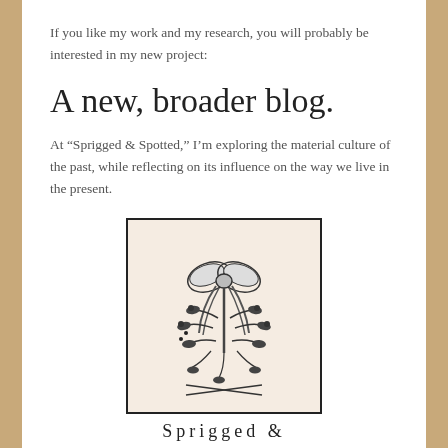If you like my work and my research, you will probably be interested in my new project:
A new, broader blog.
At “Sprigged & Spotted,” I’m exploring the material culture of the past, while reflecting on its influence on the way we live in the present.
[Figure (illustration): A vintage illustration inside a rectangular border showing a decorative floral bouquet tied with a ribbon bow, reminiscent of 18th-century engravings. Below the frame is the text 'Sprigged &' in spaced serif lettering.]
Sprigged &